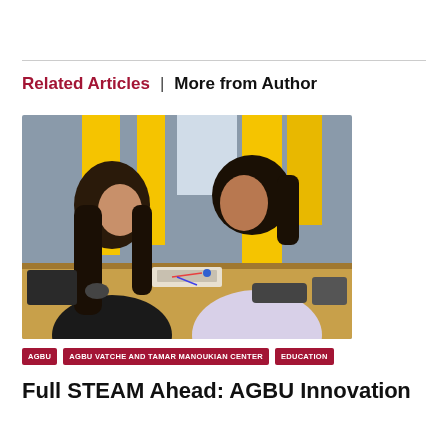Related Articles  |  More from Author
[Figure (photo): Two young women sitting at a table working with electronic components and wiring on a breadboard. Yellow panels on the wall behind them in a modern learning space.]
AGBU
AGBU VATCHE AND TAMAR MANOUKIAN CENTER
EDUCATION
Full STEAM Ahead: AGBU Innovation